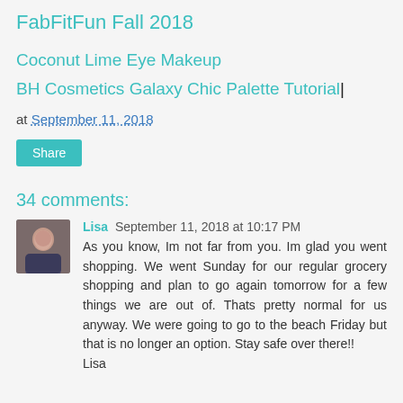FabFitFun Fall 2018
Coconut Lime Eye Makeup
BH Cosmetics Galaxy Chic Palette Tutorial
at September 11, 2018
Share
34 comments:
Lisa September 11, 2018 at 10:17 PM
As you know, Im not far from you. Im glad you went shopping. We went Sunday for our regular grocery shopping and plan to go again tomorrow for a few things we are out of. Thats pretty normal for us anyway. We were going to go to the beach Friday but that is no longer an option. Stay safe over there!! Lisa